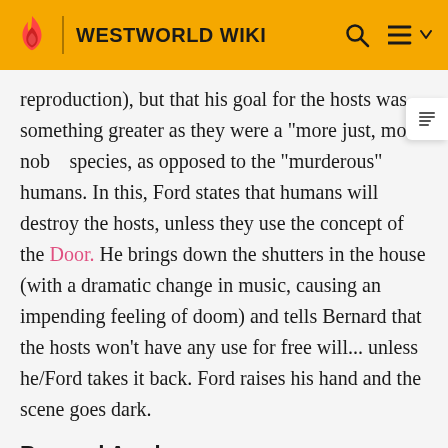WESTWORLD WIKI
reproduction), but that his goal for the hosts was something greater as they were a "more just, more noble" species, as opposed to the "murderous" humans. In this, Ford states that humans will destroy the hosts, unless they use the concept of the Door. He brings down the shutters in the house (with a dramatic change in music, causing an impending feeling of doom) and tells Bernard that the hosts won't have any use for free will... unless he/Ford takes it back. Ford raises his hand and the scene goes dark.
Bernard Awakens
The robotic arm in the Cradle returns the pearl to Bernard's skull as he comes to. Elsie supports him as he